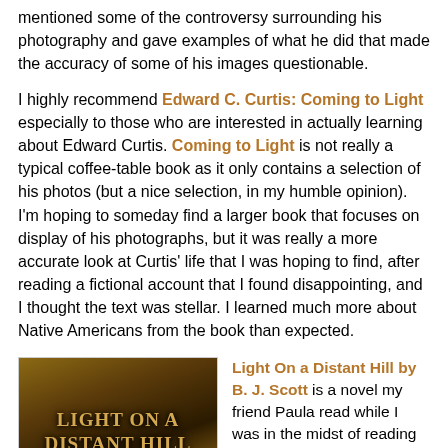mentioned some of the controversy surrounding his photography and gave examples of what he did that made the accuracy of some of his images questionable.
I highly recommend Edward C. Curtis: Coming to Light especially to those who are interested in actually learning about Edward Curtis. Coming to Light is not really a typical coffee-table book as it only contains a selection of his photos (but a nice selection, in my humble opinion). I'm hoping to someday find a larger book that focuses on display of his photographs, but it was really a more accurate look at Curtis' life that I was hoping to find, after reading a fictional account that I found disappointing, and I thought the text was stellar. I learned much more about Native Americans from the book than expected.
[Figure (photo): Book cover of 'Light On a Distant Hill' with dark golden-brown toned imagery and large serif title text]
Light On a Distant Hill by B. J. Scott is a novel my friend Paula read while I was in the midst of reading about Edward Curtis. It's fiction, but Paula highly